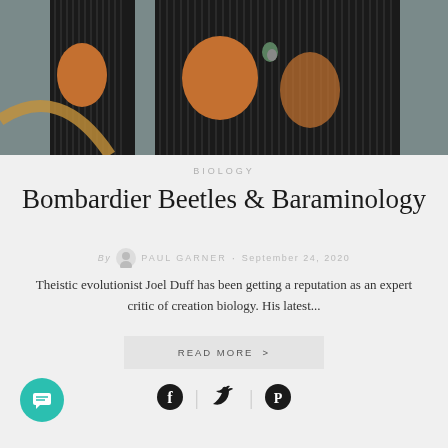[Figure (photo): Close-up photo of a bombardier beetle showing orange/brown markings on its black elytra (wing covers), with vertical ridged texture]
BIOLOGY
Bombardier Beetles & Baraminology
By PAUL GARNER · September 24, 2020
Theistic evolutionist Joel Duff has been getting a reputation as an expert critic of creation biology. His latest...
READ MORE >